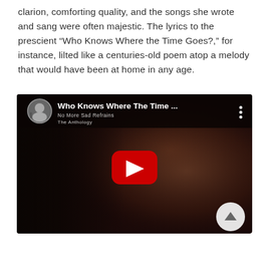clarion, comforting quality, and the songs she wrote and sang were often majestic. The lyrics to the prescient “Who Knows Where the Time Goes?,” for instance, lilted like a centuries-old poem atop a melody that would have been at home in any age.
[Figure (screenshot): YouTube video embed showing 'Who Knows Where The Time ...' with a thumbnail of a woman with long hair in dark/moody lighting, a red play button in the center, and a circular scroll-to-top button in the bottom right corner.]